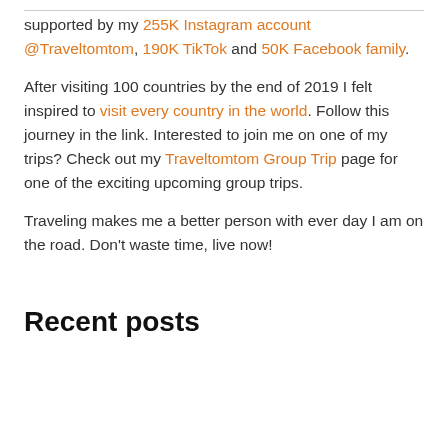supported by my 255K Instagram account @Traveltomtom, 190K TikTok and 50K Facebook family.
After visiting 100 countries by the end of 2019 I felt inspired to visit every country in the world. Follow this journey in the link. Interested to join me on one of my trips? Check out my Traveltomtom Group Trip page for one of the exciting upcoming group trips.
Traveling makes me a better person with ever day I am on the road. Don't waste time, live now!
Recent posts